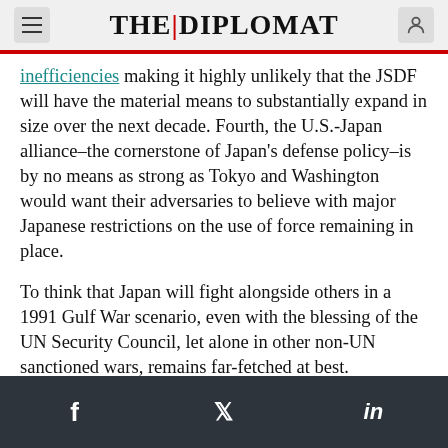THE | DIPLOMAT
inefficiencies making it highly unlikely that the JSDF will have the material means to substantially expand in size over the next decade. Fourth, the U.S.-Japan alliance–the cornerstone of Japan's defense policy–is by no means as strong as Tokyo and Washington would want their adversaries to believe with major Japanese restrictions on the use of force remaining in place.

To think that Japan will fight alongside others in a 1991 Gulf War scenario, even with the blessing of the UN Security Council, let alone in other non-UN sanctioned wars, remains far-fetched at best.
f  Twitter  in